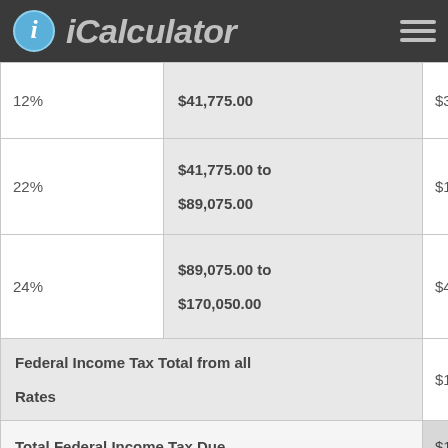iCalculator
| Rate | Income Range | Tax |
| --- | --- | --- |
| 12% | $41,775.00 | $3,780.00 |
| 22% | $41,775.00 to $89,075.00 | $10,406.00 |
| 24% | $89,075.00 to $170,050.00 | $4,314.00 |
| Federal Income Tax Total from all Rates |  | $19,527.50 |
| Total Federal Income Tax Due |  | $19,527.50 |
| Federal Insurance Contributions Act tax (FICA) |  |  |